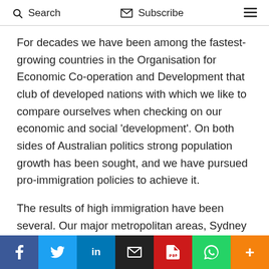Search   Subscribe   ☰
For decades we have been among the fastest-growing countries in the Organisation for Economic Co-operation and Development that club of developed nations with which we like to compare ourselves when checking on our economic and social ‘development’. On both sides of Australian politics strong population growth has been sought, and we have pursued pro-immigration policies to achieve it.
The results of high immigration have been several. Our major metropolitan areas, Sydney